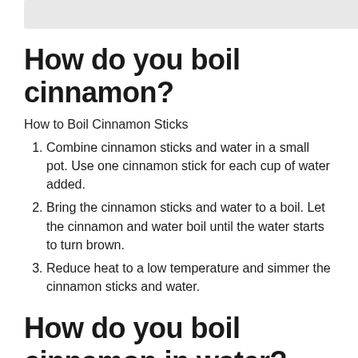[Figure (other): Grey table of contents bar at top of page]
How do you boil cinnamon?
How to Boil Cinnamon Sticks
Combine cinnamon sticks and water in a small pot. Use one cinnamon stick for each cup of water added.
Bring the cinnamon sticks and water to a boil. Let the cinnamon and water boil until the water starts to turn brown.
Reduce heat to a low temperature and simmer the cinnamon sticks and water.
How do you boil cinnamon in water?